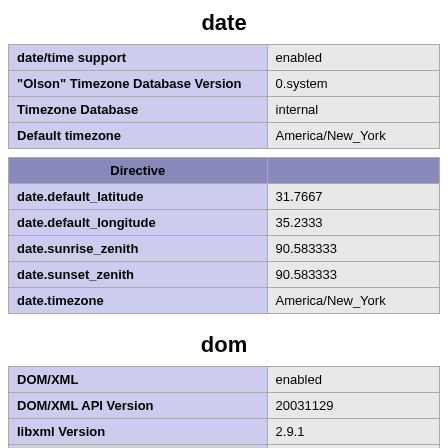date
| date/time support | enabled |
| "Olson" Timezone Database Version | 0.system |
| Timezone Database | internal |
| Default timezone | America/New_York |
| Directive |  |
| --- | --- |
| date.default_latitude | 31.7667 |
| date.default_longitude | 35.2333 |
| date.sunrise_zenith | 90.583333 |
| date.sunset_zenith | 90.583333 |
| date.timezone | America/New_York |
dom
| DOM/XML | enabled |
| DOM/XML API Version | 20031129 |
| libxml Version | 2.9.1 |
| HTML Support | enabled |